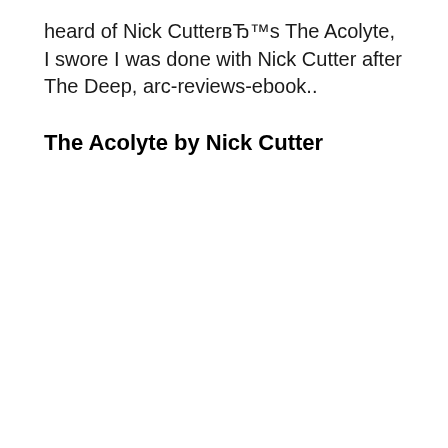heard of Nick Cutter's The Acolyte, I swore I was done with Nick Cutter after The Deep, arc-reviews-ebook..
The Acolyte by Nick Cutter